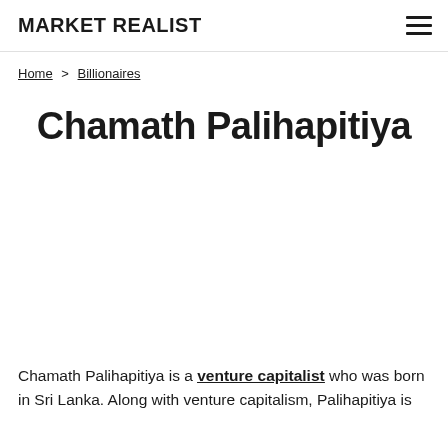MARKET REALIST
Home > Billionaires
Chamath Palihapitiya
Chamath Palihapitiya is a venture capitalist who was born in Sri Lanka. Along with venture capitalism, Palihapitiya is